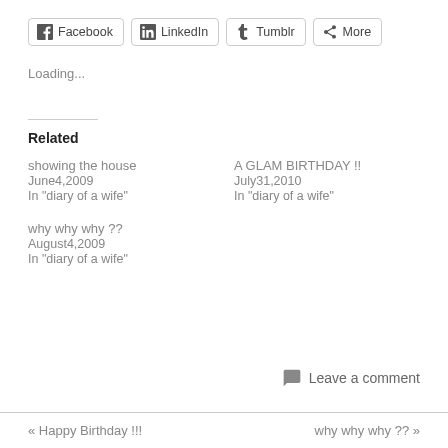[Figure (other): Social share buttons: Facebook, LinkedIn, Tumblr, More]
Loading...
Related
showing the house
June4,2009
In "diary of a wife"
A GLAM BIRTHDAY !!
July31,2010
In "diary of a wife"
why why why ??
August4,2009
In "diary of a wife"
Leave a comment
« Happy Birthday !!!    why why why ?? »